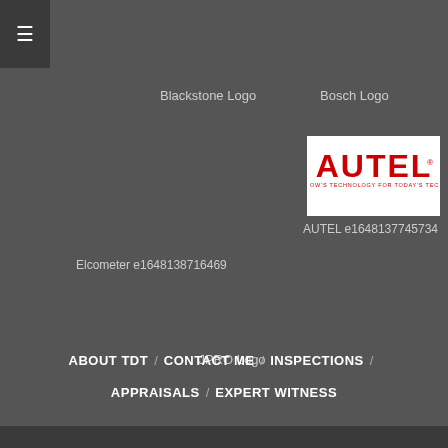[Figure (other): Hamburger menu button icon (three horizontal lines) on dark background]
Blackstone Logo
Bosch Logo
[Figure (logo): AUTEL logo — red text on white background with tagline 'TOMORROW'S TECHNOLOGY FOR TODAY'S TECHNICIAN']
AUTEL e1648137745734
Elcometer e1648138716469
JPRO Logo
ABOUT TDT / CONTACT ME / INSPECTIONS / APPRAISALS / EXPERT WITNESS